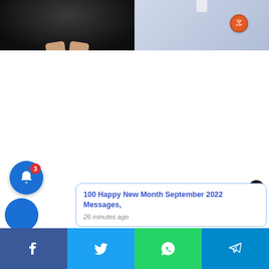[Figure (photo): Split photo: left half shows a person in a black outfit with hands clasped in front; right half shows a person in a light blue/lavender outfit with an orange circular badge/button pinned to it]
[Figure (screenshot): Notification popup card with blue border showing title '100 Happy New Month September 2022 Messages,' and timestamp '26 minutes ago']
100 Happy New Month September 2022 Messages,
26 minutes ago
Shares